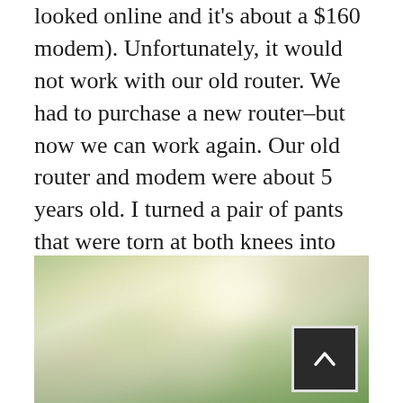looked online and it's about a $160 modem). Unfortunately, it would not work with our old router. We had to purchase a new router–but now we can work again. Our old router and modem were about 5 years old. I turned a pair of pants that were torn at both knees into shorts for a daughter.
[Figure (photo): Blurred outdoor bokeh photo with soft green and yellow tones, showing an out-of-focus garden or path scene. A dark 'back to top' button with an upward chevron arrow is overlaid in the bottom-right corner.]